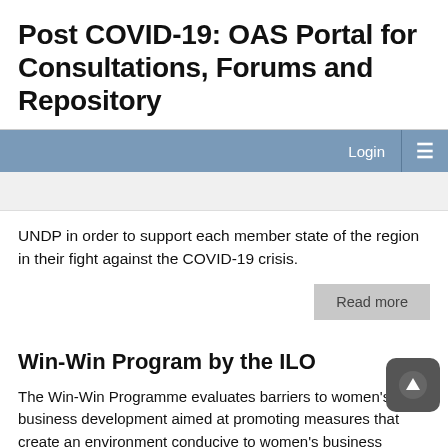Post COVID-19: OAS Portal for Consultations, Forums and Repository
UNDP in order to support each member state of the region in their fight against the COVID-19 crisis.
Read more
Win-Win Program by the ILO
The Win-Win Programme evaluates barriers to women's business development aimed at promoting measures that create an environment conducive to women's business development.
The Network of Women Entrepreneurs of Latin America and the Caribbean was created. Women used this space to share good practices developed to continue their business activities in a COVID-19 context. They have started to connect with European women entrepreneurs to share challenges, opportunities and